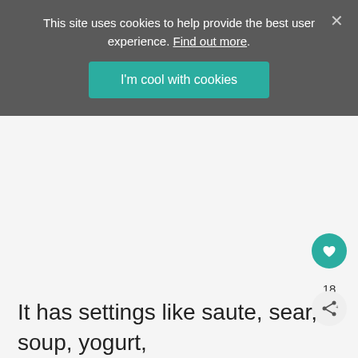This site uses cookies to help provide the best user experience. Find out more.
I'm cool with cookies
[Figure (other): Empty light gray content area below cookie banner]
18
It has settings like saute, sear, soup, yogurt,